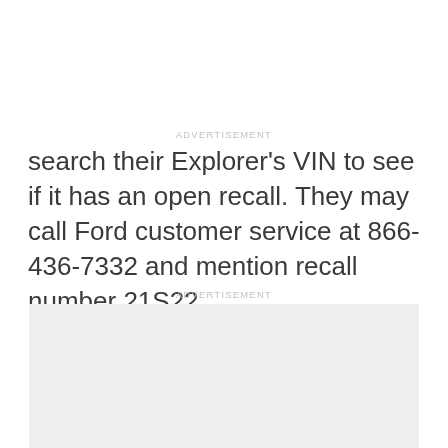ADVERTISEMENT
search their Explorer's VIN to see if it has an open recall. They may call Ford customer service at 866-436-7332 and mention recall number 21S22.
ADVERTISEMENT
[Figure (other): Gray advertisement placeholder box]